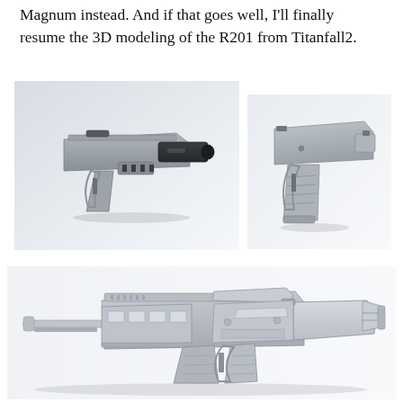Magnum instead. And if that goes well, I'll finally resume the 3D modeling of the R201 from Titanfall2.
[Figure (photo): 3D model render of a futuristic sci-fi pistol (grey and black) shown in side/angled view against a light grey-white gradient background]
[Figure (photo): 3D model render of a compact futuristic grey pistol shown in angled view against a white background]
[Figure (photo): 3D model render of the R201 assault rifle from Titanfall2, shown in detailed side/angled view in light grey against a white background]